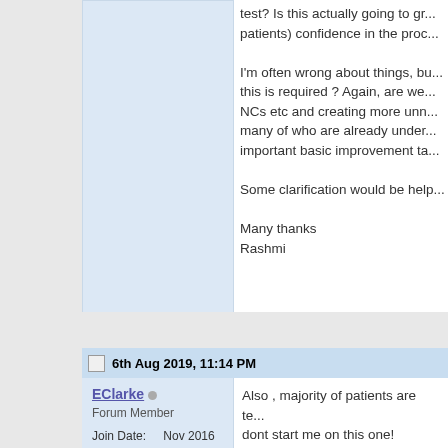test? Is this actually going to gr... patients) confidence in the proc...

I'm often wrong about things, bu... this is required ? Again, are we... NCs etc and creating more unn... many of who are already under... important basic improvement ta...

Some clarification would be help...

Many thanks
Rashmi
6th Aug 2019, 11:14 PM
EClarke
Forum Member
Join Date: Nov 2016
Posts: 42
Also , majority of patients are te... dont start me on this one!
8th Aug 2019, 11:31 PM
Rashmi
Thanks EClarke- I know how yo...